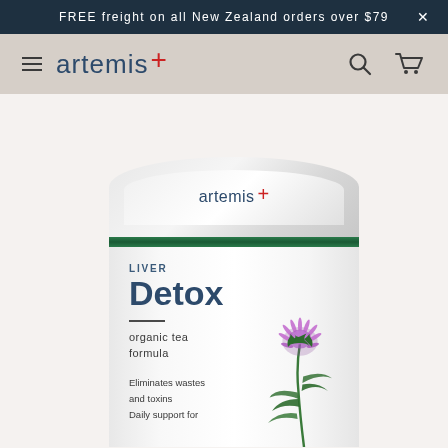FREE freight on all New Zealand orders over $79  ×
[Figure (screenshot): Artemis website navigation header with hamburger menu, artemis+ logo in dark blue/red, search icon, and cart icon on beige/taupe background]
[Figure (photo): Artemis Liver Detox product tin showing white cylindrical container with artemis+ logo, green band, LIVER Detox label, organic tea formula, milk thistle flower illustration, and text: Eliminates wastes and toxins, Daily support for...]